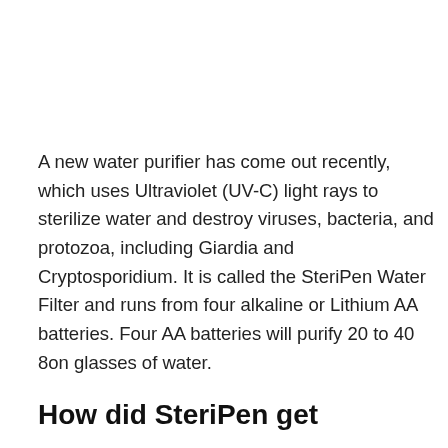A new water purifier has come out recently, which uses Ultraviolet (UV-C) light rays to sterilize water and destroy viruses, bacteria, and protozoa, including Giardia and Cryptosporidium. It is called the SteriPen Water Filter and runs from four alkaline or Lithium AA batteries. Four AA batteries will purify 20 to 40 8on glasses of water.
How did SteriPen get